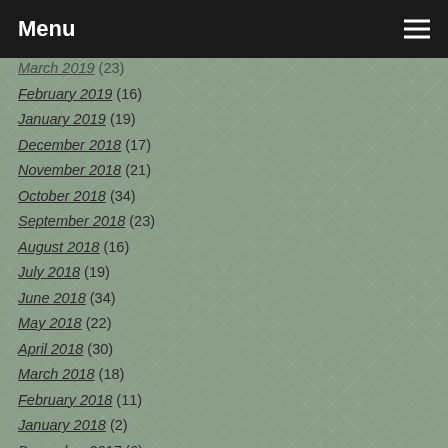Menu
March 2019 (23)
February 2019 (16)
January 2019 (19)
December 2018 (17)
November 2018 (21)
October 2018 (34)
September 2018 (23)
August 2018 (16)
July 2018 (19)
June 2018 (34)
May 2018 (22)
April 2018 (30)
March 2018 (18)
February 2018 (11)
January 2018 (2)
December 2017 (6)